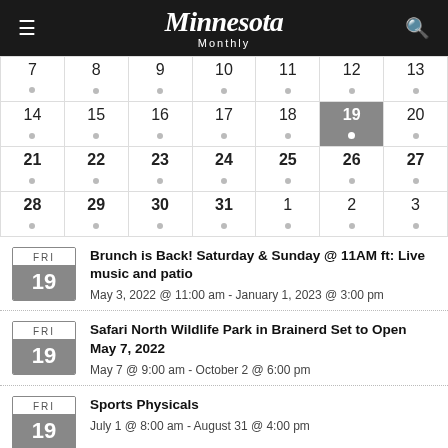Minnesota Monthly
|  |  |  |  |  |  |  |
| --- | --- | --- | --- | --- | --- | --- |
| 7 | 8 | 9 | 10 | 11 | 12 | 13 |
| 14 | 15 | 16 | 17 | 18 | 19 | 20 |
| 21 | 22 | 23 | 24 | 25 | 26 | 27 |
| 28 | 29 | 30 | 31 | 1 | 2 | 3 |
Brunch is Back! Saturday & Sunday @ 11AM ft: Live music and patio
May 3, 2022 @ 11:00 am - January 1, 2023 @ 3:00 pm
Safari North Wildlife Park in Brainerd Set to Open May 7, 2022
May 7 @ 9:00 am - October 2 @ 6:00 pm
Sports Physicals
July 1 @ 8:00 am - August 31 @ 4:00 pm